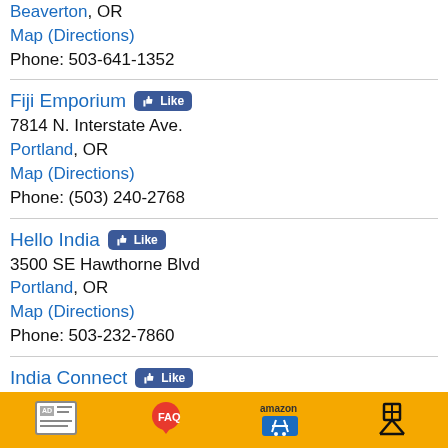Beaverton, OR
Map (Directions)
Phone: 503-641-1352
Fiji Emporium
7814 N. Interstate Ave.
Portland, OR
Map (Directions)
Phone: (503) 240-2768
Hello India
3500 SE Hawthorne Blvd
Portland, OR
Map (Directions)
Phone: 503-232-7860
India Connect
16055 SW Regatta Dr., Suite 700
Beaverton, OR
Map (Directions)
Phone: (503) 617-7585
AD | FAQ | amazon | [icon]